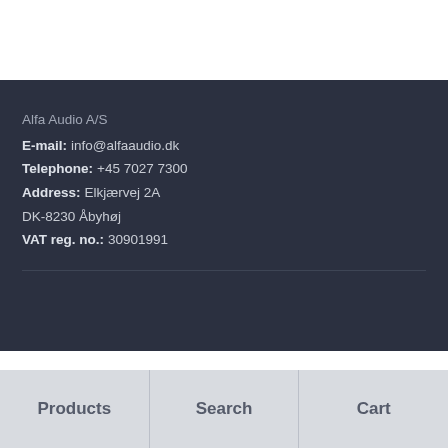Alfa Audio A/S
E-mail: info@alfaaudio.dk
Telephone: +45 7027 7300
Address: Elkjærvej 2A
DK-8230 Åbyhøj
VAT reg. no.: 30901991
Products | Search | Cart